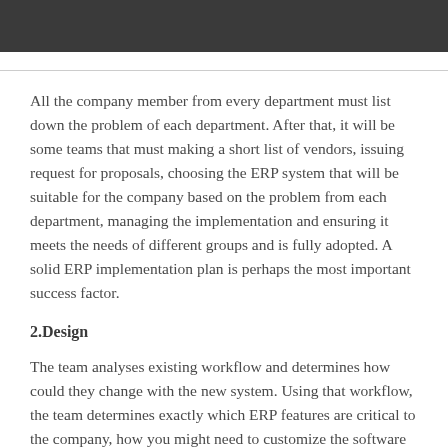All the company member from every department must list down the problem of each department. After that, it will be some teams that must making a short list of vendors, issuing request for proposals, choosing the ERP system that will be suitable for the company based on the problem from each department, managing the implementation and ensuring it meets the needs of different groups and is fully adopted. A solid ERP implementation plan is perhaps the most important success factor.
2.Design
The team analyses existing workflow and determines how could they change with the new system. Using that workflow, the team determines exactly which ERP features are critical to the company, how you might need to customize the software and how you need to change the process of each department.